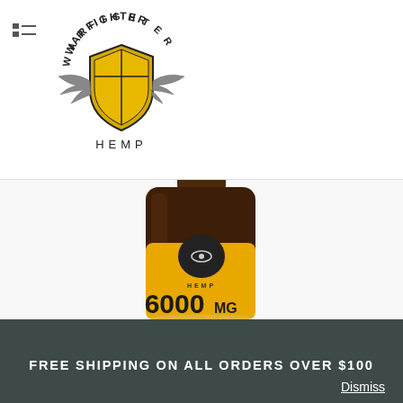[Figure (logo): Warfighter Hemp logo — circular text 'WARFIGHTER' on top, shield icon with gold/yellow color, wings extending left and right, 'HEMP' text below. Hamburger/list menu icon to the left of the logo.]
[Figure (photo): Close-up product photo of an amber glass dropper bottle with a black dropper top, yellow label showing an eye icon and text 'HEMP', and large text '6000 MG' on the label.]
FREE SHIPPING ON ALL ORDERS OVER $100
Dismiss